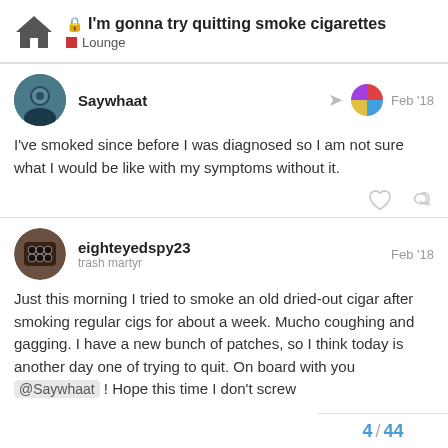I'm gonna try quitting smoke cigarettes — Lounge
Saywhaat — Feb '18
I've smoked since before I was diagnosed so I am not sure what I would be like with my symptoms without it.
eighteyedspy23 (trash martyr) — Feb '18
Just this morning I tried to smoke an old dried-out cigar after smoking regular cigs for about a week. Mucho coughing and gagging. I have a new bunch of patches, so I think today is another day one of trying to quit. On board with you @Saywhaat ! Hope this time I don't screw
4 / 44